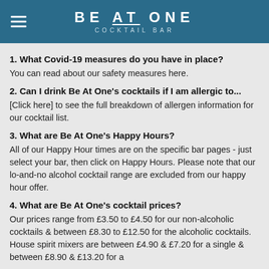BE AT ONE COCKTAIL BAR
1. What Covid-19 measures do you have in place?
You can read about our safety measures here.
2. Can I drink Be At One's cocktails if I am allergic to...
[Click here] to see the full breakdown of allergen information for our cocktail list.
3. What are Be At One's Happy Hours?
All of our Happy Hour times are on the specific bar pages - just select your bar, then click on Happy Hours. Please note that our lo-and-no alcohol cocktail range are excluded from our happy hour offer.
4. What are Be At One's cocktail prices?
Our prices range from £3.50 to £4.50 for our non-alcoholic cocktails & between £8.30 to £12.50 for the alcoholic cocktails. House spirit mixers are between £4.90 & £7.20 for a single & between £8.90 & £13.20 for a